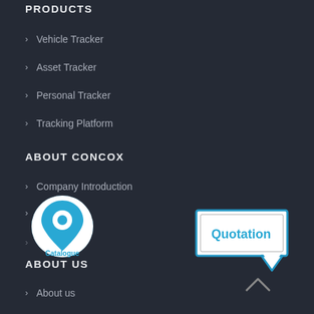PRODUCTS
Vehicle Tracker
Asset Tracker
Personal Tracker
Tracking Platform
ABOUT CONCOX
Company Introduction
Contact Us
[Figure (logo): Circular blue location pin icon with 'Catalogue' text below in blue, on dark background]
[Figure (logo): Speech bubble shaped icon with 'Quotation' text in blue, on white background with blue border]
ABOUT US
About us